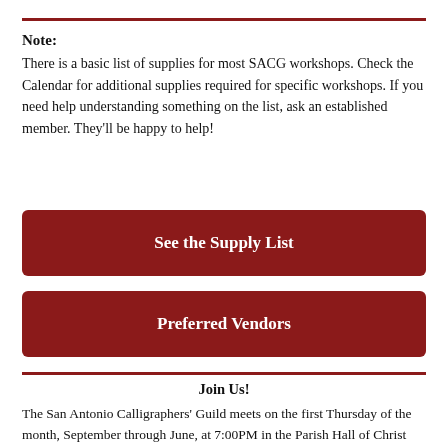Note:
There is a basic list of supplies for most SACG workshops. Check the Calendar for additional supplies required for specific workshops. If you need help understanding something on the list, ask an established member. They'll be happy to help!
[Figure (other): Red button labeled 'See the Supply List']
[Figure (other): Red button labeled 'Preferred Vendors']
Join Us!
The San Antonio Calligraphers' Guild meets on the first Thursday of the month, September through June, at 7:00PM in the Parish Hall of Christ